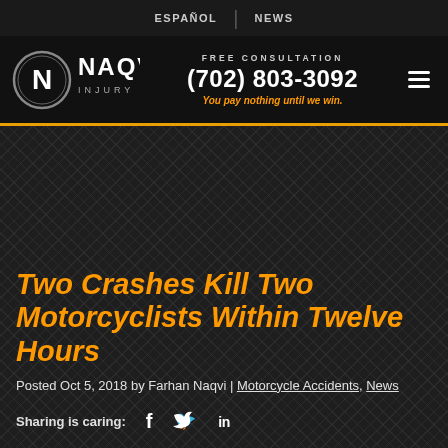ESPAÑOL | NEWS
[Figure (logo): Naqvi Injury Law logo — circular N icon with NAQVI text and INJURY LAW subtitle in white on black background]
FREE CONSULTATION
(702) 803-3092
You pay nothing until we win.
Two Crashes Kill Two Motorcyclists Within Twelve Hours
Posted Oct 5, 2018 by Farhan Naqvi | Motorcycle Accidents, News
Sharing is caring: